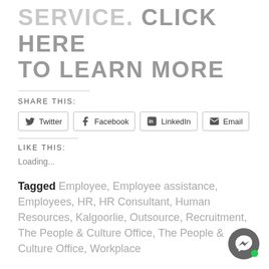SERVICE. CLICK HERE TO LEARN MORE
SHARE THIS:
[Figure (other): Social share buttons: Twitter, Facebook, LinkedIn, Email]
LIKE THIS:
Loading...
Tagged Employee, Employee assistance, Employees, HR, HR Consultant, Human Resources, Kalgoorlie, Outsource, Recruitment, The People & Culture Office, The People & Culture Office, Workplace
[Figure (other): Facebook Messenger chat button with green online indicator]